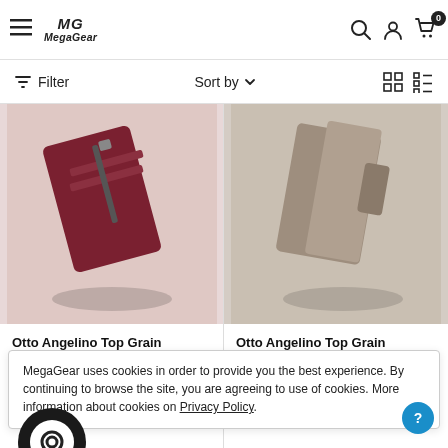MegaGear - Filter | Sort by | Grid/List view
[Figure (photo): Otto Angelino Top Grain Leather 2 Compartment Bifold Wallet product photo - burgundy/red colored wallet shown open]
Otto Angelino Top Grain Leather 2 Compartment Bifold Wallet
[Figure (photo): Otto Angelino Top Grain Leather 2 Compartment Bifold Wallet product photo - taupe/grey colored wallet shown open]
Otto Angelino Top Grain Leather 2 Compartment Bifold Wallet
MegaGear uses cookies in order to provide you the best experience. By continuing to browse the site, you are agreeing to use of cookies. More information about cookies on Privacy Policy.